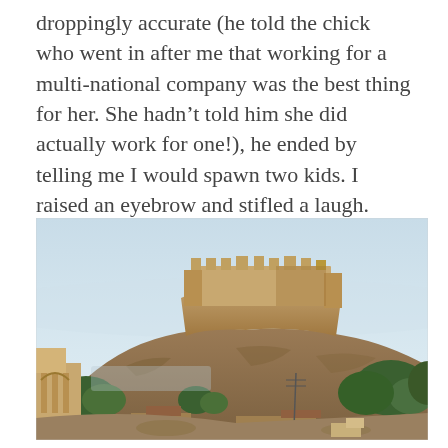droppingly accurate (he told the chick who went in after me that working for a multi-national company was the best thing for her. She hadn't told him she did actually work for one!), he ended by telling me I would spawn two kids. I raised an eyebrow and stifled a laugh.
[Figure (photo): Outdoor photograph of a large sandstone fort (Mehrangarh Fort, Jodhpur, India) perched atop a rocky hill, with a hazy light-blue sky in the background, trees and ruins/buildings in the foreground and left side.]